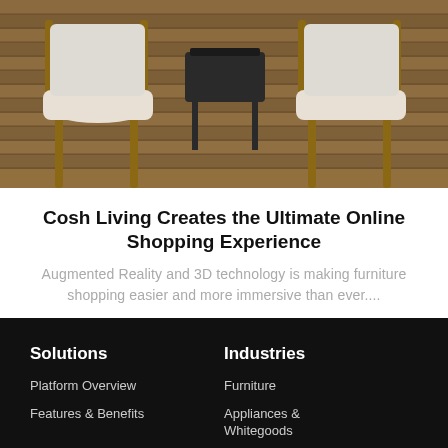[Figure (photo): Outdoor patio scene with two white cushioned chairs and a small dark table on wooden deck flooring, photographed from above/angle.]
Cosh Living Creates the Ultimate Online Shopping Experience
Augmented Reality and 3D technology is making furniture shopping easier and more immersive than ever....
Solutions
Platform Overview
Features & Benefits
Industries
Furniture
Appliances & Whitegoods